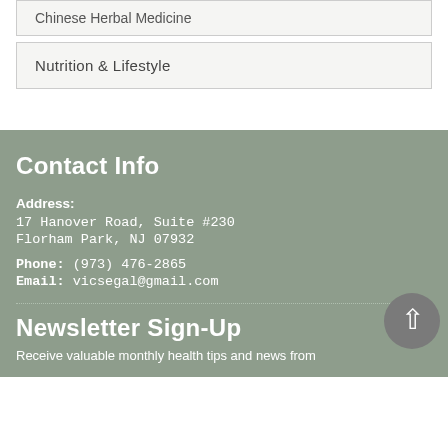Chinese Herbal Medicine
Nutrition & Lifestyle
Contact Info
Address:
17 Hanover Road, Suite #230
Florham Park, NJ 07932
Phone: (973) 476-2865
Email: vicsegal@gmail.com
Newsletter Sign-Up
Receive valuable monthly health tips and news from...